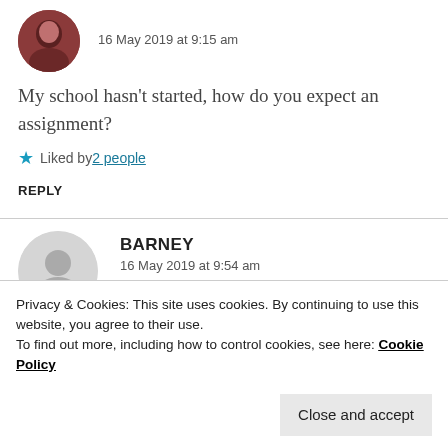16 May 2019 at 9:15 am
My school hasn't started, how do you expect an assignment?
Liked by 2 people
REPLY
BARNEY
16 May 2019 at 9:54 am
Privacy & Cookies: This site uses cookies. By continuing to use this website, you agree to their use.
To find out more, including how to control cookies, see here: Cookie Policy
Close and accept